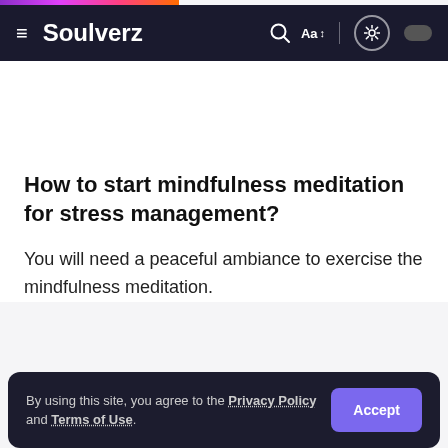Soulverz
How to start mindfulness meditation for stress management?
You will need a peaceful ambiance to exercise the mindfulness meditation.
By using this site, you agree to the Privacy Policy and Terms of Use.